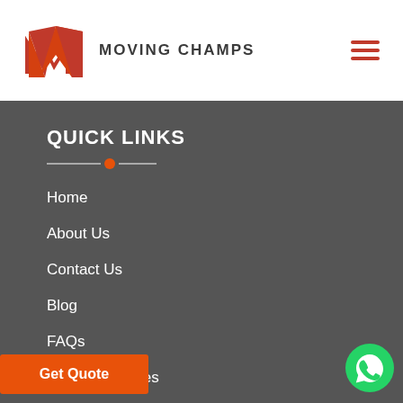[Figure (logo): Moving Champs logo with orange M letter mark and company name]
QUICK LINKS
Home
About Us
Contact Us
Blog
FAQs
Moving Services
Terms and Conditions
[Figure (illustration): WhatsApp green chat bubble icon in bottom right corner]